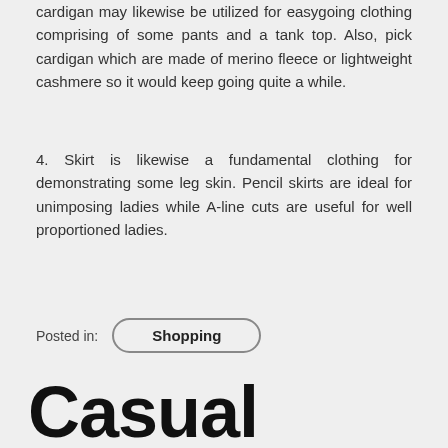cardigan may likewise be utilized for easygoing clothing comprising of some pants and a tank top. Also, pick cardigan which are made of merino fleece or lightweight cashmere so it would keep going quite a while.
4. Skirt is likewise a fundamental clothing for demonstrating some leg skin. Pencil skirts are ideal for unimposing ladies while A-line cuts are useful for well proportioned ladies.
Posted in:
Shopping
Casual